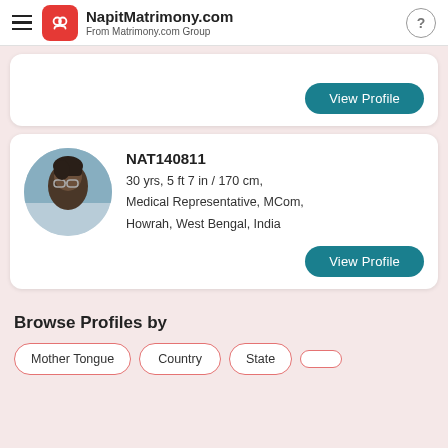NapitMatrimony.com From Matrimony.com Group
[Figure (photo): Profile card with View Profile button (partially visible at top)]
NAT140811
30 yrs, 5 ft 7 in / 170 cm,
Medical Representative, MCom,
Howrah, West Bengal, India
[Figure (photo): Circular profile photo of a person wearing glasses]
Browse Profiles by
Mother Tongue
Country
State